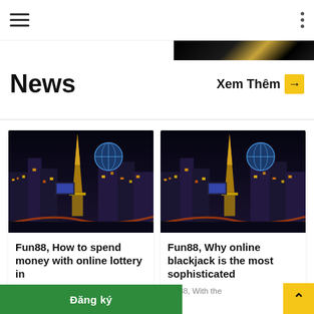Navigation header with hamburger menu and dots menu
[Figure (photo): Dark banner strip with diagonal gold and black stripes on right side]
News
Xem Thêm →
[Figure (photo): Night cityscape photo of Las Vegas Strip with Eiffel Tower replica and illuminated buildings]
Fun88, How to spend money with online lottery in
Fun88, Let's say which
[Figure (photo): Night cityscape photo of Las Vegas Strip with Eiffel Tower replica and illuminated buildings]
Fun88, Why online blackjack is the most sophisticated
fun88, With the
Đăng ký